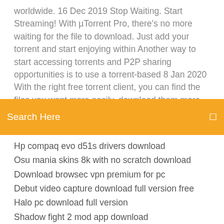worldwide.  16 Dec 2019 Stop Waiting. Start Streaming! With µTorrent Pro, there's no more waiting for the file to download. Just add your torrent and start enjoying within  Another way to start accessing torrents and P2P sharing opportunities is to use a torrent-based  8 Jan 2020 With the right free torrent client, you can find the files you want more easily, download them more
Search Here
Hp compaq evo d51s drivers download
Osu mania skins 8k with no scratch download
Download browsec vpn premium for pc
Debut video capture download full version free
Halo pc download full version
Shadow fight 2 mod app download
Rewind mp4 download download mp4 video backwards
Download nba 2k19 prelude pc
Download gotometing for pc
Download web browser on my ps4